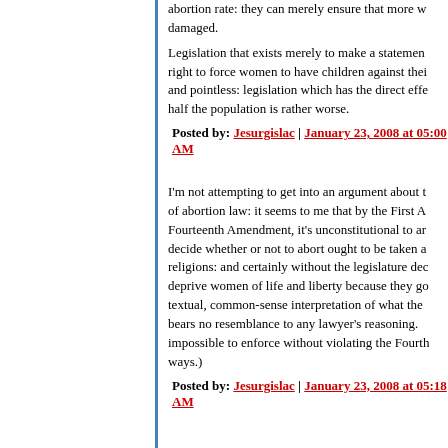abortion rate: they can merely ensure that more women are damaged.
Legislation that exists merely to make a statement about the right to force women to have children against their will is bad and pointless: legislation which has the direct effect of harming half the population is rather worse.
Posted by: Jesurgislac | January 23, 2008 at 05:00 AM
I'm not attempting to get into an argument about the constitutionality of abortion law: it seems to me that by the First Amendment and Fourteenth Amendment, it's unconstitutional to argue that the right to decide whether or not to abort ought to be taken away based on religions: and certainly without the legislature deciding that it can deprive women of life and liberty because they got pregnant is a textual, common-sense interpretation of what the constitution says that bears no resemblance to any lawyer's reasoning. (The law is also impossible to enforce without violating the Fourth Amendment in many ways.)
Posted by: Jesurgislac | January 23, 2008 at 05:18 AM